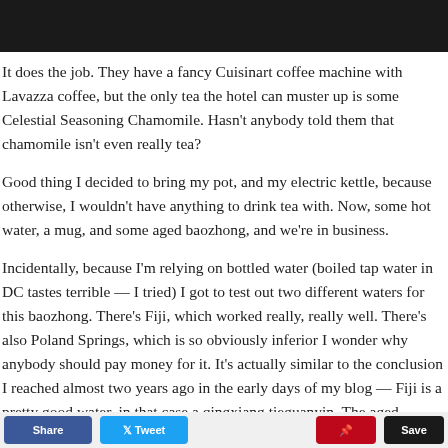[Figure (other): Dark header bar image at top of page]
It does the job. They have a fancy Cuisinart coffee machine with Lavazza coffee, but the only tea the hotel can muster up is some Celestial Seasoning Chamomile. Hasn't anybody told them that chamomile isn't even really tea?
Good thing I decided to bring my pot, and my electric kettle, because otherwise, I wouldn't have anything to drink tea with. Now, some hot water, a mug, and some aged baozhong, and we're in business.
Incidentally, because I'm relying on bottled water (boiled tap water in DC tastes terrible — I tried) I got to test out two different waters for this baozhong. There's Fiji, which worked really, really well. There's also Poland Springs, which is so obviously inferior I wonder why anybody should pay money for it. It's actually similar to the conclusion I reached almost two years ago in the early days of my blog — Fiji is a pretty good water, in that case a qingxiang tieguanyin. The aged baozhong is much heavier, and also benefits from the Fiji water. It's definitely better than my usual mix of filtered water plus some mineral water. It worked really well, actually.
[Figure (other): Social share buttons bar at bottom: Share, Tweet, Pinterest, Save]